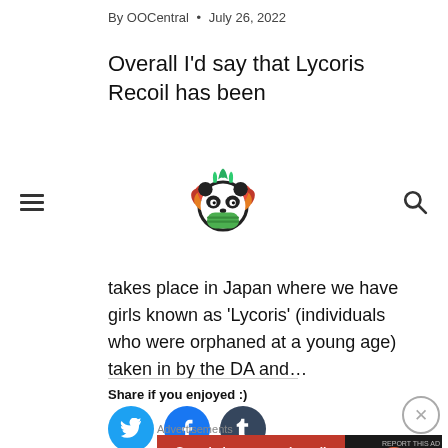By OOCentral • July 26, 2022
Overall I'd say that Lycoris Recoil has been
[Figure (logo): Panda character logo with mask and autumn leaves, on a navigation bar with hamburger menu and search icon]
takes place in Japan where we have girls known as 'Lycoris' (individuals who were orphaned at a young age) taken in by the DA and…
Share if you enjoyed :)
[Figure (other): Social share buttons: Twitter (blue circle), Facebook (blue circle), Tumblr (dark circle)]
[Figure (screenshot): DuckDuckGo advertisement banner: 'Search, browse, and email with more privacy. All in One Free App' on orange background with DuckDuckGo logo on dark background]
Advertisements